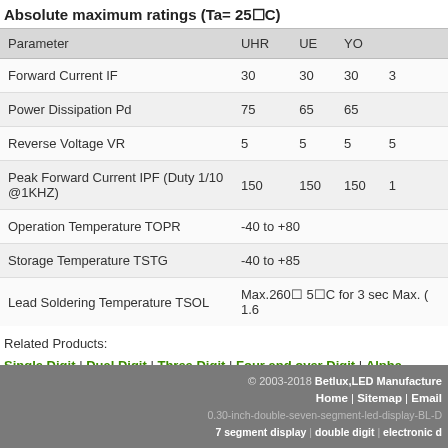Absolute maximum ratings (Ta= 25°C)
| Parameter | UHR | UE | YO |  |
| --- | --- | --- | --- | --- |
| Forward Current IF | 30 | 30 | 30 | 3 |
| Power Dissipation Pd | 75 | 65 | 65 |  |
| Reverse Voltage VR | 5 | 5 | 5 | 5 |
| Peak Forward Current IPF (Duty 1/10 @1KHZ) | 150 | 150 | 150 | 1 |
| Operation Temperature TOPR | -40 to +80 |  |  |  |
| Storage Temperature TSTG | -40 to +85 |  |  |  |
| Lead Soldering Temperature TSOL | Max.260 5°C for 3 sec Max. ( 1.6 |  |  |  |
Related Products:
Single Digit | Dual Digit | Three Digit | Four and over Digit | Alpha-numeric dis LED clock board | LED panel | Custom LED display
[Print] [Return]
© 2003-2018 Betlux,LED Manufacture Home | Sitemap | Email 0.30-inch-double-seven-segment-led-display-BL-D 7 segment display | double digit | electronic d